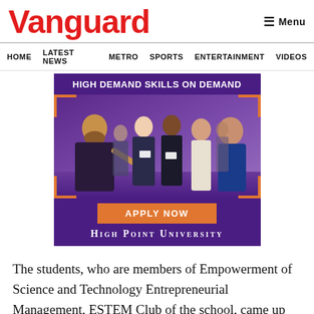Vanguard
HOME  LATEST NEWS  METRO  SPORTS  ENTERTAINMENT  VIDEOS
[Figure (photo): High Point University advertisement banner showing students at a career fair or networking event with text 'HIGH DEMAND SKILLS ON DEMAND', an 'APPLY NOW' button, and 'HIGH POINT UNIVERSITY' branding on a purple background with orange corner accents.]
The students, who are members of Empowerment of Science and Technology Entrepreneurial Management, ESTEM Club of the school, came up with this product in readiness for an annual